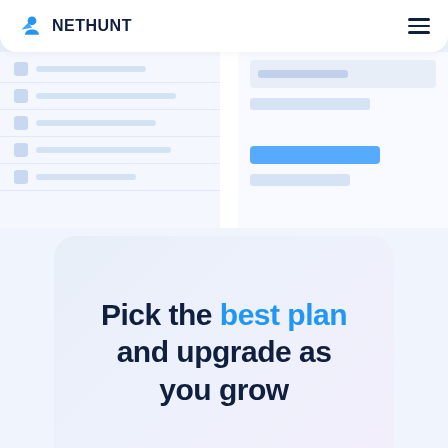[Figure (screenshot): NetHunt CRM application screenshot showing a list view of contacts on the left and a detail panel on the right, with blurred/placeholder content in light blue tones]
NetHunt — navigation bar with logo and hamburger menu
Pick the best plan and upgrade as you grow